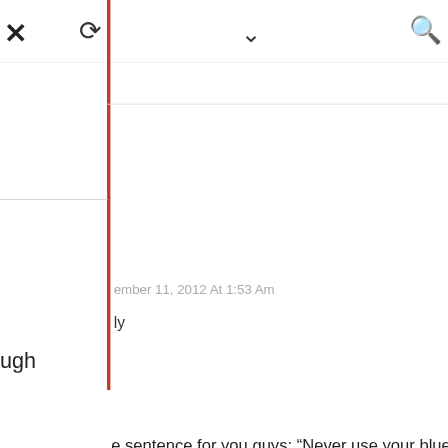× ↺ ∨ 🔍
ember 11, 2012 At 1:53 Am
ly
ugh
e sentence for you guys: "Never use your blue eyes to ch my black world!"
[oly]
ate
n Reply: